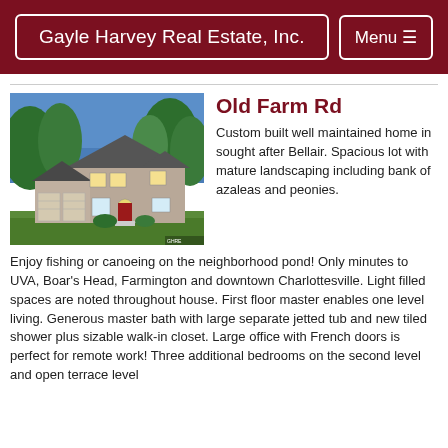Gayle Harvey Real Estate, Inc.
[Figure (photo): Exterior photo of a two-story custom built home in Bellair neighborhood, taken at dusk with interior lights glowing. Home has gray/stone siding, black shutters, attached two-car garage, and red front door surrounded by mature trees and landscaping.]
Old Farm Rd
Custom built well maintained home in sought after Bellair. Spacious lot with mature landscaping including bank of azaleas and peonies. Enjoy fishing or canoeing on the neighborhood pond! Only minutes to UVA, Boar's Head, Farmington and downtown Charlottesville. Light filled spaces are noted throughout house. First floor master enables one level living. Generous master bath with large separate jetted tub and new tiled shower plus sizable walk-in closet. Large office with French doors is perfect for remote work! Three additional bedrooms on the second level and open terrace level